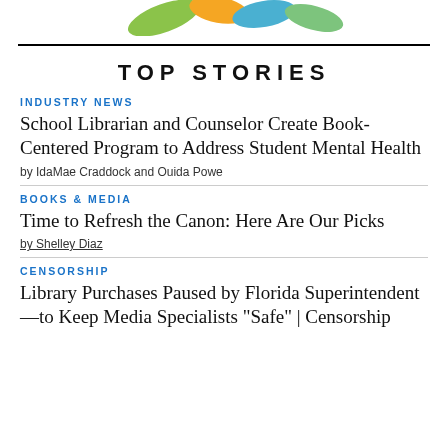[Figure (logo): Colorful abstract logo/banner with green, orange, blue, and yellow shapes at the top of the page]
TOP STORIES
INDUSTRY NEWS
School Librarian and Counselor Create Book-Centered Program to Address Student Mental Health
by IdaMae Craddock and Ouida Powe
BOOKS & MEDIA
Time to Refresh the Canon: Here Are Our Picks
by Shelley Diaz
CENSORSHIP
Library Purchases Paused by Florida Superintendent—to Keep Media Specialists "Safe" | Censorship